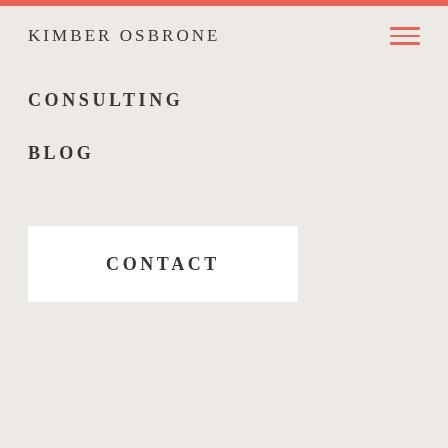KIMBER OSBRONE
CONSULTING
BLOG
CONTACT